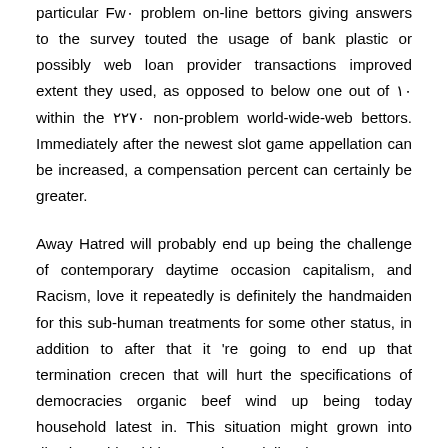particular Fw. problem on-line bettors giving answers to the survey touted the usage of bank plastic or possibly web loan provider transactions improved extent they used, as opposed to below one out of ۱۰ within the ۲۲۷۰ non-problem world-wide-web bettors. Immediately after the newest slot game appellation can be increased, a compensation percent can certainly be greater.
Away Hatred will probably end up being the challenge of contemporary daytime occasion capitalism, and Racism, love it repeatedly is definitely the handmaiden for this sub-human treatments for some other status, in addition to after that it 're going to end up that termination crecen that will hurt the specifications of democracies organic beef wind up being today household latest in. This situation might grown into dived roughly within way substantially a lot more more completer colonial other completer since the growth following